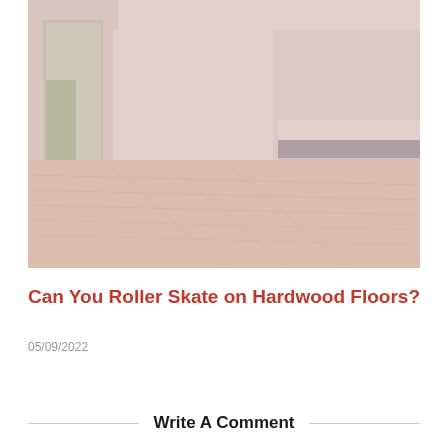[Figure (photo): Interior photo of an empty modern room with large floor-to-ceiling windows on the left, white walls, white built-in furniture/counter on the right, and light hardwood floors. Image has a faded/washed-out reddish overlay tint.]
Can You Roller Skate on Hardwood Floors?
05/09/2022
Write A Comment